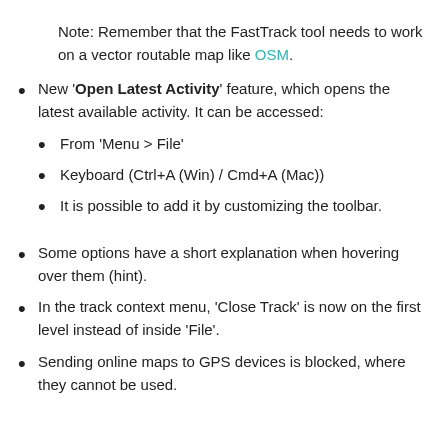Note: Remember that the FastTrack tool needs to work on a vector routable map like OSM.
New 'Open Latest Activity' feature, which opens the latest available activity. It can be accessed:
From 'Menu > File'
Keyboard (Ctrl+A (Win) / Cmd+A (Mac))
It is possible to add it by customizing the toolbar.
Some options have a short explanation when hovering over them (hint).
In the track context menu, 'Close Track' is now on the first level instead of inside 'File'.
Sending online maps to GPS devices is blocked, where they cannot be used.